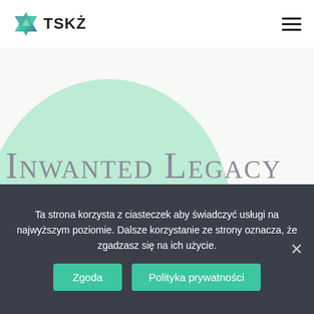[Figure (logo): TSKŻ logo with Star of David icon in teal/blue/green gradient and text 'TSKŻ']
[Figure (illustration): Large light green circular blob shape in the background]
Inwanted Legacy
Ta strona korzysta z ciasteczek aby świadczyć usługi na najwyższym poziomie. Dalsze korzystanie ze strony oznacza, że zgadzasz się na ich użycie.
Zgoda
Polityka prywatności